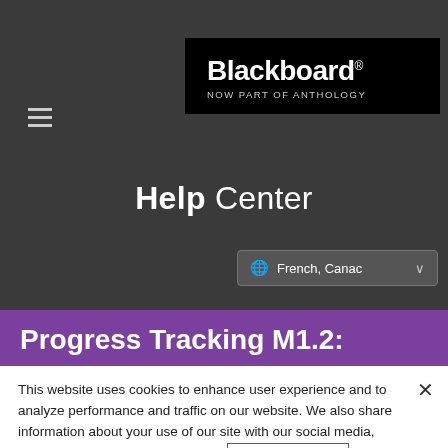[Figure (logo): Blackboard logo — white text on black background reading 'Blackboard' with superscript registered trademark symbol and subtitle 'NOW PART OF ANTHOLOGY']
Help Center
French, Canada (language selector dropdown)
Progress Tracking M1.2:
This website uses cookies to enhance user experience and to analyze performance and traffic on our website. We also share information about your use of our site with our social media, advertising and analytics partners. Cookie Statement